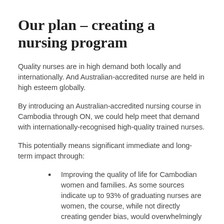Our plan – creating a nursing program
Quality nurses are in high demand both locally and internationally. And Australian-accredited nurse are held in high esteem globally.
By introducing an Australian-accredited nursing course in Cambodia through ON, we could help meet that demand with internationally-recognised high-quality trained nurses.
This potentially means significant immediate and long-term impact through:
Improving the quality of life for Cambodian women and families. As some sources indicate up to 93% of graduating nurses are women, the course, while not directly creating gender bias, would overwhelmingly empower Cambodian women, lifting them and their families out of poverty.